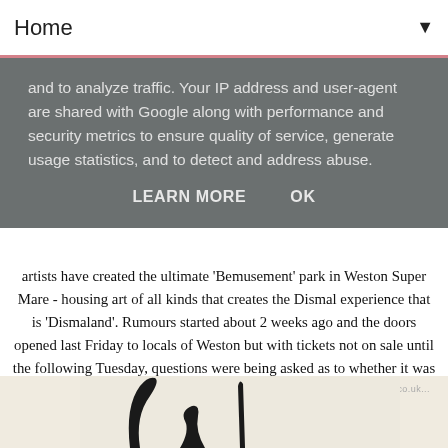Home ▼
and to analyze traffic. Your IP address and user-agent are shared with Google along with performance and security metrics to ensure quality of service, generate usage statistics, and to detect and address abuse.
LEARN MORE   OK
artists have created the ultimate 'Bemusement' park in Weston Super Mare - housing art of all kinds that creates the Dismal experience that is 'Dismaland'. Rumours started about 2 weeks ago and the doors opened last Friday to locals of Weston but with tickets not on sale until the following Tuesday, questions were being asked as to whether it was all a hoax or not. Well, we managed to bag ourselves some tickets and headed down last Thursday. For £5.00 a ticket - why wouldn't we?!  If you're hoping to get yourself some tickets, I'm afraid they're all sold out for now - you may be able to grab yourself some more later this week but just keep checking the website for details...
[Figure (illustration): Bottom strip showing a partial illustration on a cream/off-white background with a watermark URL www.girlsgoneglib.co.uk]